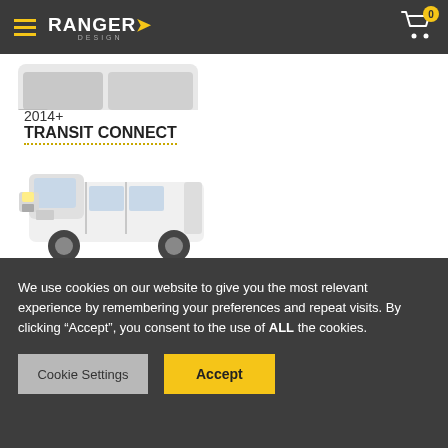Ranger Design — Navigation header with hamburger menu and shopping cart (0 items)
2014+
TRANSIT CONNECT
[Figure (photo): White Ford Transit Connect cargo van, side and front view, on white background]
SAVANA / EXPRESS
[Figure (photo): White Chevrolet Savana/Express full-size cargo van, side view, on white background]
We use cookies on our website to give you the most relevant experience by remembering your preferences and repeat visits. By clicking “Accept”, you consent to the use of ALL the cookies.
Cookie Settings
Accept